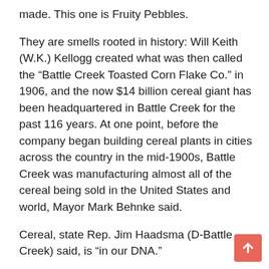made. This one is Fruity Pebbles.
They are smells rooted in history: Will Keith (W.K.) Kellogg created what was then called the “Battle Creek Toasted Corn Flake Co.” in 1906, and the now $14 billion cereal giant has been headquartered in Battle Creek for the past 116 years. At one point, before the company began building cereal plants in cities across the country in the mid-1900s, Battle Creek was manufacturing almost all of the cereal being sold in the United States and world, Mayor Mark Behnke said.
Cereal, state Rep. Jim Haadsma (D-Battle Creek) said, is “in our DNA.”
“This is the place where W.K. Kellogg first invented Cornflakes; there were many breakfast cereal companies here,” Haadsma said. “This is Cereal City, USA. We’ve had Kellogg’s, Post and Ralston all operating at the same time here. It’s a city where